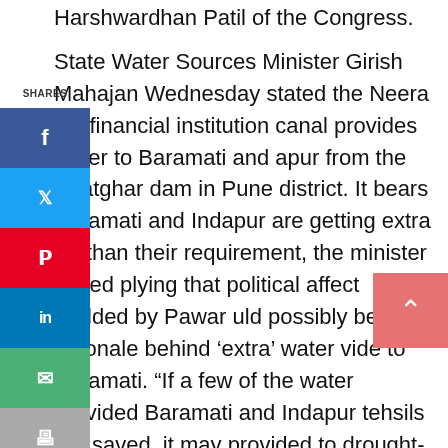Harshwardhan Patil of the Congress.
State Water Sources Minister Girish Mahajan Wednesday stated the Neera left financial institution canal provides water to Baramati and apur from the Bhatghar dam in Pune district. It bears Baramati and Indapur are getting extra ter than their requirement, the minister stated plying that political affect wielded by Pawar uld possibly be the rationale behind 'extra' water vide to Baramati. "If a few of the water provided Baramati and Indapur tehsils are saved, it may provided to drought-hit areas of neighbouring tara district.
We can't provide extra water to some areas and deprive others," Mahajan stated. Political grapevine is that the transfer is aimed toward cornering